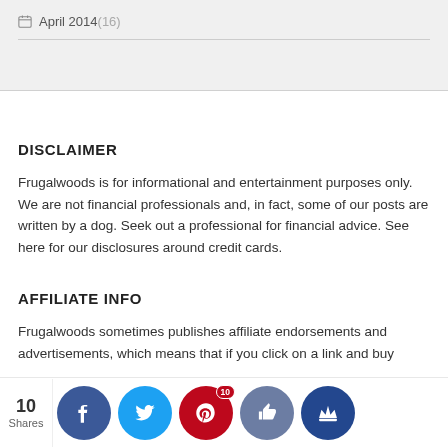April 2014 (16)
DISCLAIMER
Frugalwoods is for informational and entertainment purposes only. We are not financial professionals and, in fact, some of our posts are written by a dog. Seek out a professional for financial advice. See here for our disclosures around credit cards.
AFFILIATE INFO
Frugalwoods sometimes publishes affiliate endorsements and advertisements, which means that if you click on a link and buy something, Frugalwoods may receive a percentage of the sale at no extra cost to you. We only write about and promote products...
[Figure (infographic): Social sharing bar with 10 Shares count and circular icon buttons for Facebook (blue), Twitter (light blue), Pinterest (red, badge showing 10), a thumbs-up button (dark blue-grey), and a crown icon (dark blue).]